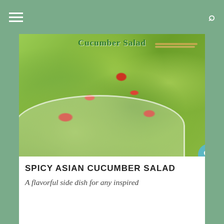≡  [search icon]
[Figure (photo): Photo of a white bowl containing spicy Asian cucumber salad with sliced cucumbers and red pepper pieces, with chopsticks resting behind the bowl. Text overlay reads 'Cucumber Salad' in green bold font at the top.]
SPICY ASIAN CUCUMBER SALAD
A flavorful side dish for any inspired